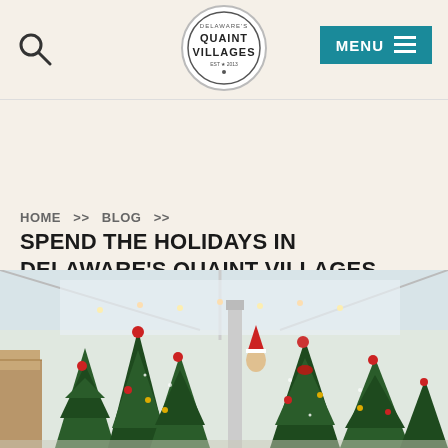Delaware's Quaint Villages — MENU
HOME >> BLOG >>
SPEND THE HOLIDAYS IN DELAWARE'S QUAINT VILLAGES
<< BACK
[Figure (photo): Indoor display of multiple decorated Christmas trees with red bows, ornaments, and string lights in a large hall or store]